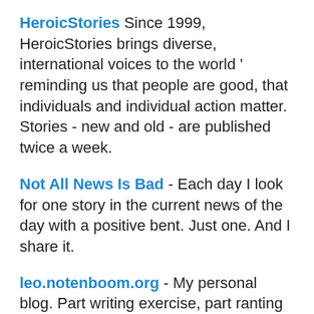HeroicStories Since 1999, HeroicStories brings diverse, international voices to the world ' reminding us that people are good, that individuals and individual action matter. Stories - new and old - are published twice a week.
Not All News Is Bad - Each day I look for one story in the current news of the day with a positive bent. Just one. And I share it.
leo.notenboom.org - My personal blog. Part writing exercise, part ranting platform, it's where I write...